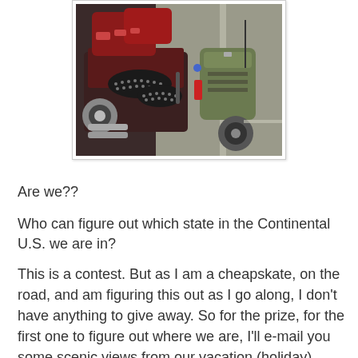[Figure (photo): Photograph of motorcycles with studded leather seats and saddlebags, a green bag/pack on the right side, parked on a road or parking area.]
Are we??
Who can figure out which state in the Continental U.S. we are in?
This is a contest. But as I am a cheapskate, on the road, and am figuring this out as I go along, I don't have anything to give away. So for the prize, for the first one to figure out where we are, I'll e-mail you some scenic views from our vacation (holiday).